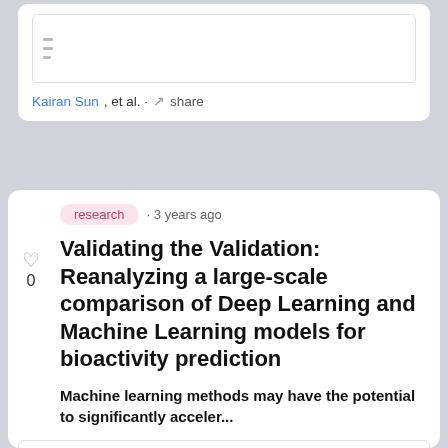[Figure (screenshot): Thumbnail preview of a research paper with two-column text layout]
Kairan Sun, et al. · share
research · 3 years ago
Validating the Validation: Reanalyzing a large-scale comparison of Deep Learning and Machine Learning models for bioactivity prediction
Machine learning methods may have the potential to significantly acceler...
[Figure (screenshot): Thumbnail of paper titled: Validating the Validation: Reanalyzing a large-scale comparison of Deep Learning and Machine Learning models for bioactivity prediction]